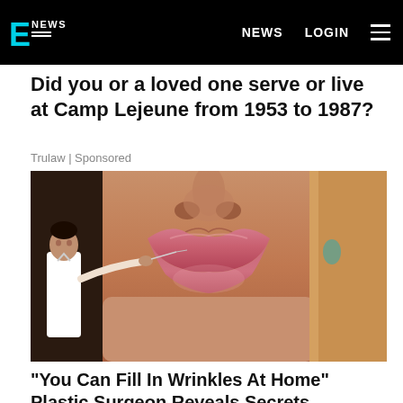E NEWS — NEWS   LOGIN   ≡
Did you or a loved one serve or live at Camp Lejeune from 1953 to 1987?
Trulaw | Sponsored
[Figure (photo): Close-up photo of a woman's face focusing on her lips, with a small figure of a man in a white shirt appearing to inject something into her lip area — a cosmetic surgery advertisement image.]
"You Can Fill In Wrinkles At Home" Plastic Surgeon Reveals Secrets